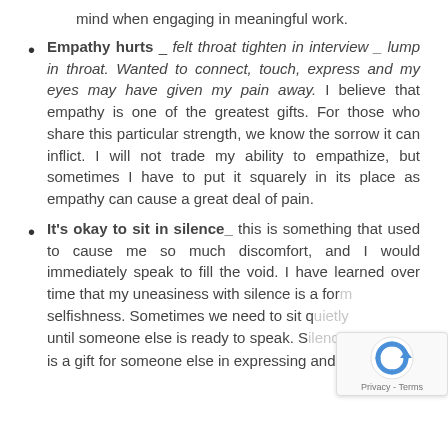mind when engaging in meaningful work.
Empathy hurts _ felt throat tighten in interview _ lump in throat. Wanted to connect, touch, express and my eyes may have given my pain away. I believe that empathy is one of the greatest gifts. For those who share this particular strength, we know the sorrow it can inflict. I will not trade my ability to empathize, but sometimes I have to put it squarely in its place as empathy can cause a great deal of pain.
It's okay to sit in silence_ this is something that used to cause me so much discomfort, and I would immediately speak to fill the void. I have learned over time that my uneasiness with silence is a form of selfishness. Sometimes we need to sit quietly until someone else is ready to speak. S... is a gift for someone else in expressing and t...